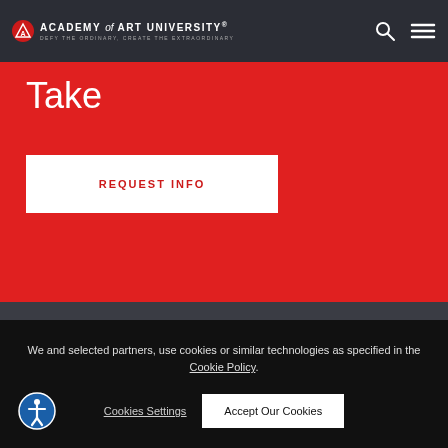ACADEMY of ART UNIVERSITY® — DEFY THE ORDINARY, CREATE THE EXTRAORDINARY
Take
REQUEST INFO
We and selected partners, use cookies or similar technologies as specified in the Cookie Policy.
Cookies Settings
Accept Our Cookies